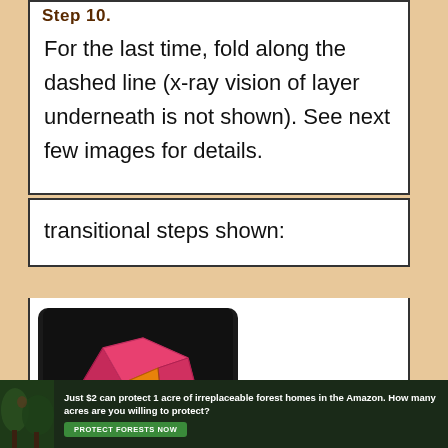Step 10.
For the last time, fold along the dashed line (x-ray vision of layer underneath is not shown). See next few images for details.
transitional steps shown:
[Figure (photo): Photo of a pink origami folded paper shape on a black background, showing a partially folded 3D form with an orange inner layer visible.]
Just $2 can protect 1 acre of irreplaceable forest homes in the Amazon. How many acres are you willing to protect?
PROTECT FORESTS NOW